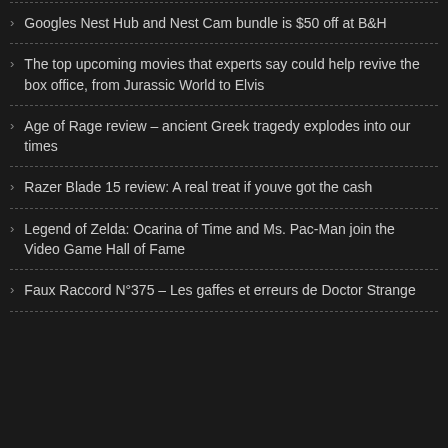Googles Nest Hub and Nest Cam bundle is $50 off at B&H
The top upcoming movies that experts say could help revive the box office, from Jurassic World to Elvis
Age of Rage review – ancient Greek tragedy explodes into our times
Razer Blade 15 review: A real treat if youve got the cash
Legend of Zelda: Ocarina of Time and Ms. Pac-Man join the Video Game Hall of Fame
Faux Raccord N°375 – Les gaffes et erreurs de Doctor Strange